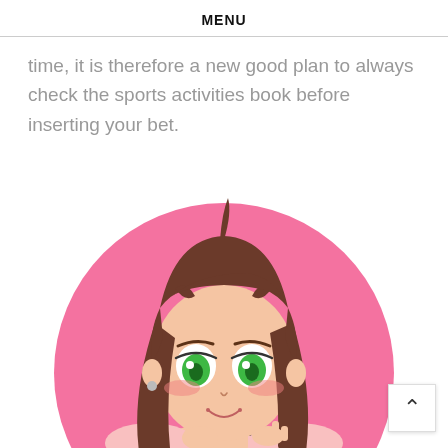MENU
time, it is therefore a new good plan to always check the sports activities book before inserting your bet.
[Figure (illustration): Anime-style illustration of a girl with long brown hair and green eyes, smiling, set against a pink circular background. She appears to be blushing and has her hands near her face.]